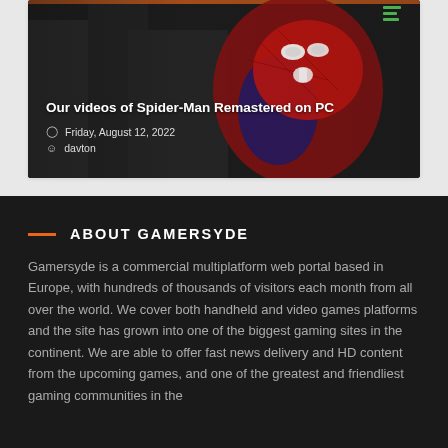[Figure (photo): Spider-Man Remastered on PC game screenshot showing Spider-Man in his red and blue suit against a dark urban background]
Our videos of Spider-Man Remastered on PC
Friday, August 12, 2022
davton
ABOUT GAMERSYDE
Gamersyde is a commercial multiplatform web portal based in Europe, with hundreds of thousands of visitors each month from all over the world. We cover both handheld and video games platforms and the site has grown into one of the biggest gaming sites in the continent. We are able to offer fast news delivery and HD content from the upcoming games, and one of the greatest and friendliest gaming communities in the